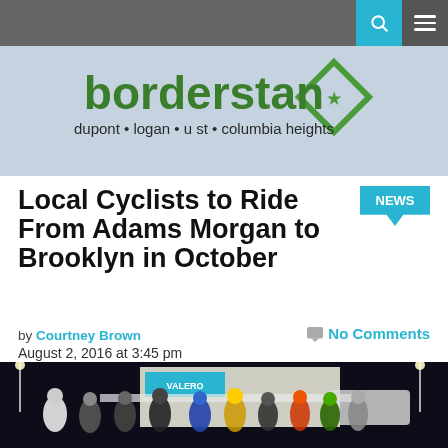borderstan — dupont • logan • u st • columbia heights
Local Cyclists to Ride From Adams Morgan to Brooklyn in October
NEWS
by Courtney Brown
August 2, 2016 at 3:45 pm
No Comments
[Figure (photo): Group of cyclists in helmets posing at night in front of a Valero gas station]